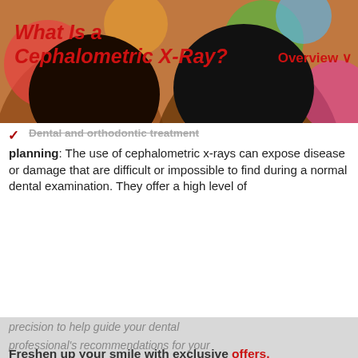What Is a Cephalometric X-Ray?
Overview ∨
Dental and orthodontic treatment planning: The use of cephalometric x-rays can expose disease or damage that are difficult or impossible to find during a normal dental examination. They offer a high level of precision to help guide your dental professional's recommendations for your diagnoses and dental treatments. dentists practice to establish your oral health baseline
[Figure (photo): Two smiling women with colorful background, with watermark text 'White smiles, delivered.' overlaid in italic white font]
Freshen up your smile with exclusive offers, pro tips, and other smile-worthy treats from Colgate.
By signing up, I agree to receive Oral Health messages Colgate Palmolive. You can change your preferences at any time in accordance with our privacy preferences and privacy policy. you can opt out at any time.
Obstructive sleep apnea: Sleep often recommend imaging to diagnose this
We use cookies and similar technologies to understand how you use our website and to create more valuable experiences for you. These cookies may be used for different purposes, including personalized advertising and measuring site usage. To learn more please see our Cookie Policy. You can change your preferences at any time through our Cookie preferences tool
Accept
Chat